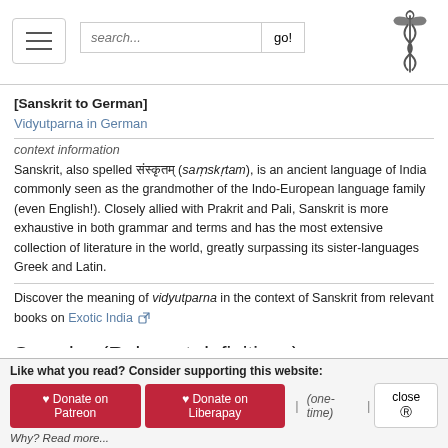search... go! [caduceus logo]
[Sanskrit to German]
Vidyutparna in German
context information
Sanskrit, also spelled संस्कृतम् (saṃskṛtam), is an ancient language of India commonly seen as the grandmother of the Indo-European language family (even English!). Closely allied with Prakrit and Pali, Sanskrit is more exhaustive in both grammar and terms and has the most extensive collection of literature in the world, greatly surpassing its sister-languages Greek and Latin.
Discover the meaning of vidyutparna in the context of Sanskrit from relevant books on Exotic India
See also (Relevant definitions)
Partial matches: Parna, Vidyut.
Full-text: Vidyudvarna, Apsaras, Tilottama, Kesini, Aruna.
Like what you read? Consider supporting this website:
♥ Donate on Patreon  ♥ Donate on Liberapay  | (one-time) |  close ⓧ
Why? Read more...